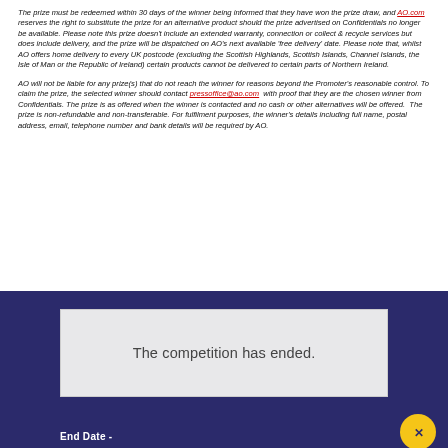The prize must be redeemed within 30 days of the winner being informed that they have won the prize draw, and AO.com reserves the right to substitute the prize for an alternative product should the prize advertised on Confidentials no longer be available. Please note this prize doesn't include an extended warranty, connection or collect & recycle services but does include delivery, and the prize will be dispatched on AO's next available 'free delivery' date. Please note that, whilst AO offers home delivery to every UK postcode (excluding the Scottish Highlands, Scottish Islands, Channel Islands, the Isle of Man or the Republic of Ireland) certain products cannot be delivered to certain parts of Northern Ireland.
AO will not be liable for any prize(s) that do not reach the winner for reasons beyond the Promoter's reasonable control. To claim the prize, the selected winner should contact pressoffice@ao.com with proof that they are the chosen winner from Confidentials. The prize is as offered when the winner is contacted and no cash or other alternatives will be offered. The prize is non-refundable and non-transferable. For fulfilment purposes, the winner's details including full name, postal address, email, telephone number and bank details will be required by AO.
[Figure (other): Dark blue competition box containing a light grey panel with text 'The competition has ended.' and an 'End Date -' label at the bottom with a yellow circle icon.]